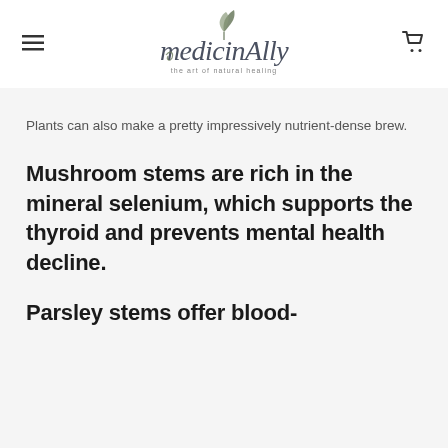[Figure (logo): MedicinAlly logo — script/handwritten text reading 'medicinAlly' with a small leaf/plant illustration above, and tagline 'the art of natural healing' below]
Plants can also make a pretty impressively nutrient-dense brew.
Mushroom stems are rich in the mineral selenium, which supports the thyroid and prevents mental health decline.
Parsley stems offer blood-